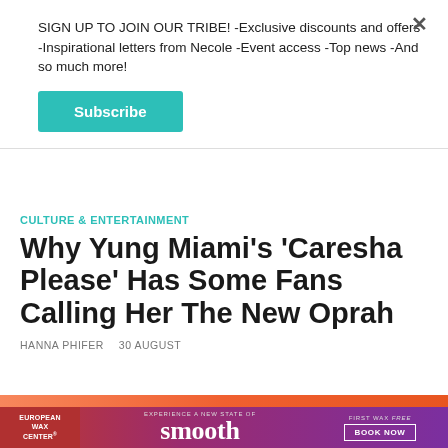SIGN UP TO JOIN OUR TRIBE! -Exclusive discounts and offers -Inspirational letters from Necole -Event access -Top news -And so much more!
Subscribe
CULTURE & ENTERTAINMENT
Why Yung Miami's 'Caresha Please' Has Some Fans Calling Her The New Oprah
HANNA PHIFER  30 AUGUST
[Figure (photo): Orange/pink decorative color strip at bottom of article area]
[Figure (infographic): European Wax Center advertisement banner: EXPERIENCE A NEW STATE OF smooth - FIRST WAX free - BOOK NOW]